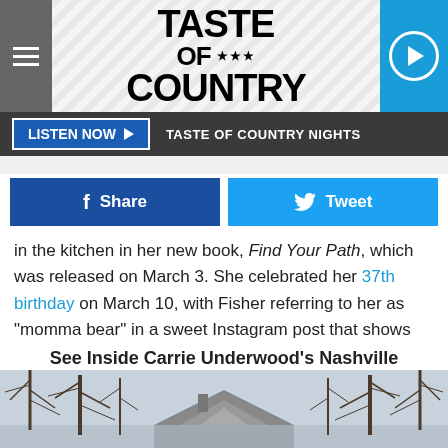TASTE OF COUNTRY
LISTEN NOW ▶  TASTE OF COUNTRY NIGHTS
f Share   Tweet
in the kitchen in her new book, Find Your Path, which was released on March 3. She celebrated her 37th birthday on March 10, with Fisher referring to her as "momma bear" in a sweet Instagram post that shows her two young sons tackling her.
See Inside Carrie Underwood's Nashville Mansion:
[Figure (photo): Exterior of a large house partially visible behind bare winter trees under an overcast sky]